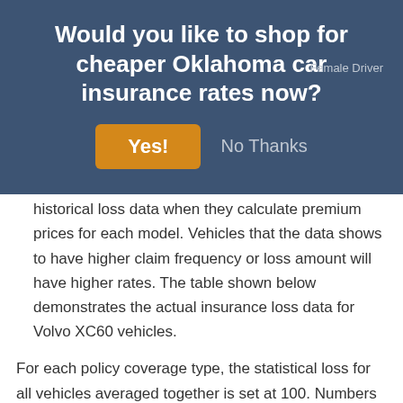Would you like to shop for cheaper Oklahoma car insurance rates now?
Yes!
No Thanks
Volvo XC60 claim data – Insurance companies use historical loss data when they calculate premium prices for each model. Vehicles that the data shows to have higher claim frequency or loss amount will have higher rates. The table shown below demonstrates the actual insurance loss data for Volvo XC60 vehicles.
For each policy coverage type, the statistical loss for all vehicles averaged together is set at 100. Numbers below 100 indicate a favorable loss history, while percentages above 100 indicate frequent claims or